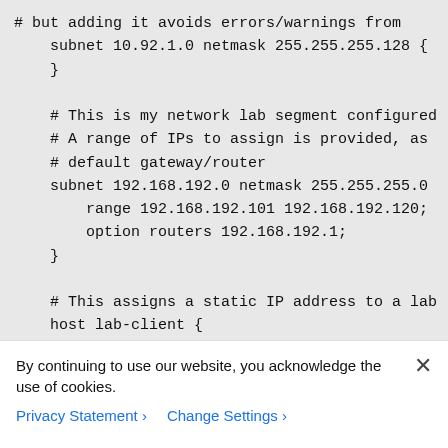# but adding it avoids errors/warnings from
    subnet 10.92.1.0 netmask 255.255.255.128 {
    }

    # This is my network lab segment configured
    # A range of IPs to assign is provided, as
    # default gateway/router
    subnet 192.168.192.0 netmask 255.255.255.0
        range 192.168.192.101 192.168.192.120;
        option routers 192.168.192.1;
    }

    # This assigns a static IP address to a lab
    host lab-client {
By continuing to use our website, you acknowledge the use of cookies.
Privacy Statement > Change Settings >